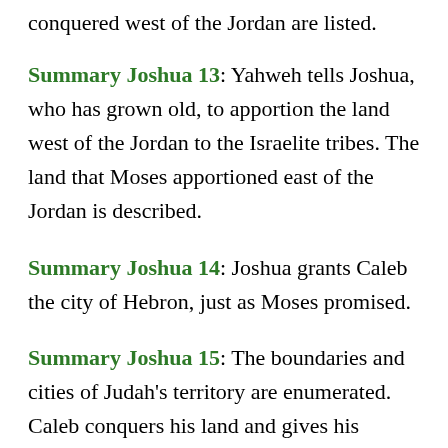conquered west of the Jordan are listed.
Summary Joshua 13: Yahweh tells Joshua, who has grown old, to apportion the land west of the Jordan to the Israelite tribes. The land that Moses apportioned east of the Jordan is described.
Summary Joshua 14: Joshua grants Caleb the city of Hebron, just as Moses promised.
Summary Joshua 15: The boundaries and cities of Judah's territory are enumerated. Caleb conquers his land and gives his daughter Achsah in marriage to Othniel, the man who conquers Kiriath-Sepher.